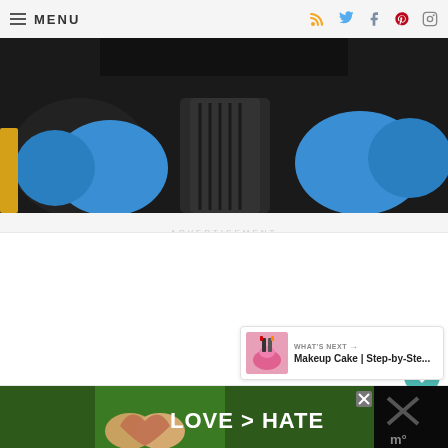MENU
[Figure (photo): Close-up photo of blue and dark dumbbells/weights on a gym surface]
ADVERTISEMENT
[Figure (photo): Bottom banner ad showing hands forming a heart shape with text LOVE > HATE]
WHAT'S NEXT → Makeup Cake | Step-by-Ste...